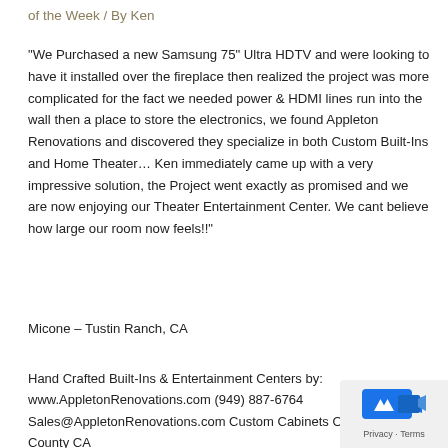of the Week / By Ken
"We Purchased a new Samsung 75" Ultra HDTV and were looking to have it installed over the fireplace then realized the project was more complicated for the fact we needed power & HDMI lines run into the wall then a place to store the electronics, we found Appleton Renovations and discovered they specialize in both Custom Built-Ins and Home Theater… Ken immediately came up with a very impressive solution, the Project went exactly as promised and we are now enjoying our Theater Entertainment Center.  We cant believe how large our room now feels!!"
Micone – Tustin Ranch, CA
Hand Crafted Built-Ins & Entertainment Centers by:
www.AppletonRenovations.com (949) 887-6764
Sales@AppletonRenovations.com Custom Cabinets Orange County CA